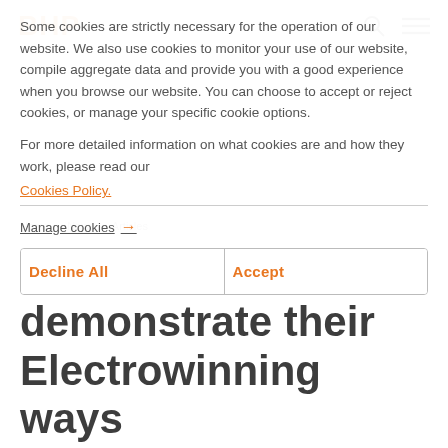BHP
Some cookies are strictly necessary for the operation of our website. We also use cookies to monitor your use of our website, compile aggregate data and provide you with a good experience when you browse our website. You can choose to accept or reject cookies, or manage your specific cookie options.
For more detailed information on what cookies are and how they work, please read our
Cookies Policy.
Manage cookies →
Decline All
Accept
Home › News › Articles
Trainees demonstrate their Electrowinning ways